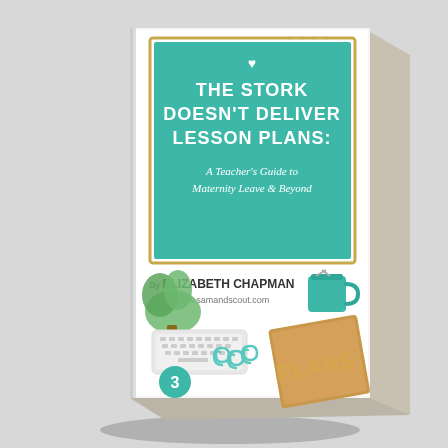[Figure (illustration): 3D book cover illustration for 'The Stork Doesn't Deliver Lesson Plans: A Teacher's Guide to Maternity Leave & Beyond' by Elizabeth Chapman (www.samandscout.com). The book cover shows a white background with teal/mint green accents, a dotted pattern, a gold border rectangle, and a teal title box with white text. The lower portion shows office/desk supplies: a plant, a white keyboard, teal paper clips, a teal mug with scissors, a teal circular badge with the number 3, and a tan/kraft colored planner with 'PLANS:' written in gold letters. The book is rendered in 3D perspective as a standing book.]